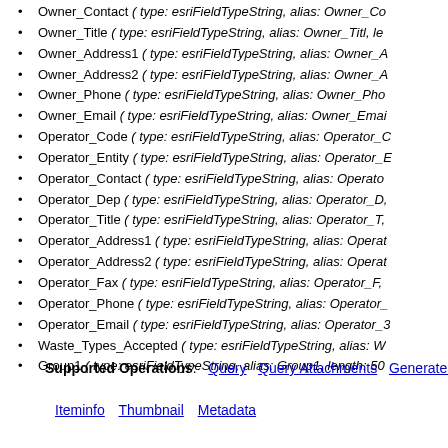Owner_Contact ( type: esriFieldTypeString, alias: Owner_Co
Owner_Title ( type: esriFieldTypeString, alias: Owner_Titl, le
Owner_Address1 ( type: esriFieldTypeString, alias: Owner_A
Owner_Address2 ( type: esriFieldTypeString, alias: Owner_A
Owner_Phone ( type: esriFieldTypeString, alias: Owner_Pho
Owner_Email ( type: esriFieldTypeString, alias: Owner_Emai
Operator_Code ( type: esriFieldTypeString, alias: Operator_C
Operator_Entity ( type: esriFieldTypeString, alias: Operator_E
Operator_Contact ( type: esriFieldTypeString, alias: Operatoi
Operator_Dep ( type: esriFieldTypeString, alias: Operator_D,
Operator_Title ( type: esriFieldTypeString, alias: Operator_T,
Operator_Address1 ( type: esriFieldTypeString, alias: Operat
Operator_Address2 ( type: esriFieldTypeString, alias: Operat
Operator_Fax ( type: esriFieldTypeString, alias: Operator_F,
Operator_Phone ( type: esriFieldTypeString, alias: Operator_
Operator_Email ( type: esriFieldTypeString, alias: Operator_3
Waste_Types_Accepted ( type: esriFieldTypeString, alias: W
Group1 ( type: esriFieldTypeString, alias: Group1, length: 50
Supported Operations: Query  Query Attachments  Generate R
Iteminfo  Thumbnail  Metadata